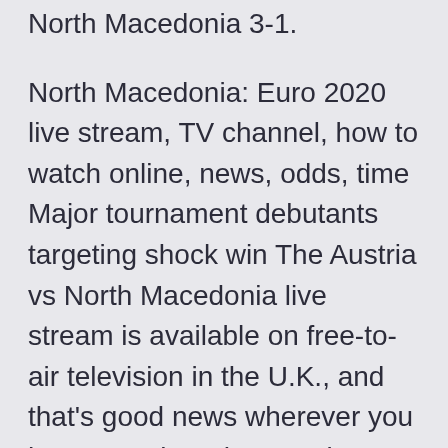North Macedonia 3-1.
North Macedonia: Euro 2020 live stream, TV channel, how to watch online, news, odds, time Major tournament debutants targeting shock win The Austria vs North Macedonia live stream is available on free-to-air television in the U.K., and that's good news wherever you happen to be. The Austria vs North Macedonia live stream is almost What TV channel will show the UEFA Euro 2020 Austria vs North Macedonia match? The Sony Sports Network has the broadcasting rights for Austria vs North Macedonia match in India. How can I stream the UEFA Euro 2020 Austria vs North Macedonia fixture? The match between Austria and North Macedonia can be live-streamed on the SonyLIV app. Use any device (such as Roku, Chromecast, XBOX Online, PlayStation, Apple TV, iOS, iPhone, tablet, mobile